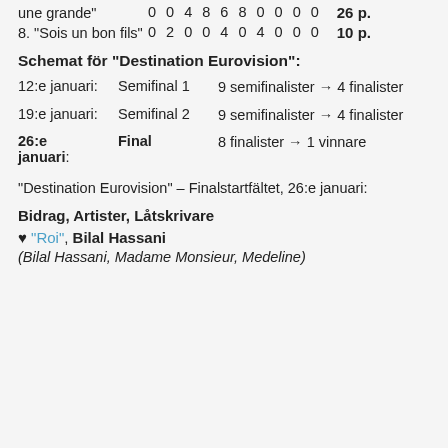une grande" — 0 0 4 8 6 8 0 0 0 0 — 26 p.
8. "Sois un bon fils" — 0 2 0 0 4 0 4 0 0 0 — 10 p.
Schemat för "Destination Eurovision":
12:e januari:  Semifinal 1  9 semifinalister → 4 finalister
19:e januari:  Semifinal 2  9 semifinalister → 4 finalister
26:e januari:  Final  8 finalister → 1 vinnare
"Destination Eurovision" – Finalstartfältet, 26:e januari:
Bidrag, Artister, Låtskrivare
♥ "Roi", Bilal Hassani
(Bilal Hassani, Madame Monsieur, Medeline)